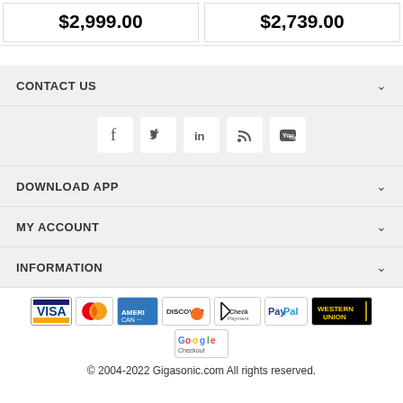$2,999.00
$2,739.00
CONTACT US
[Figure (other): Social media icons: Facebook, Twitter, LinkedIn, RSS, YouTube]
DOWNLOAD APP
MY ACCOUNT
INFORMATION
[Figure (other): Payment method logos: VISA, MasterCard, American Express, Discover, Check Payment, PayPal, Western Union, Google Checkout]
© 2004-2022 Gigasonic.com All rights reserved.